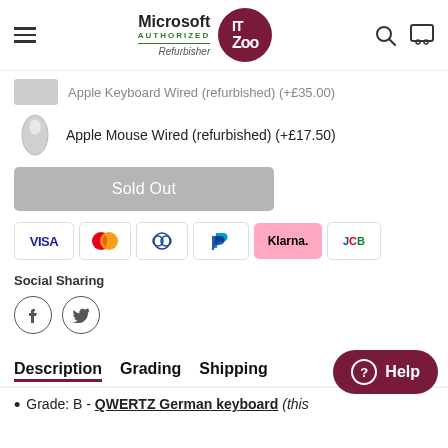Microsoft Authorized Refurbisher IT Zoo
Apple Keyboard Wired (refurbished) (+£35.00)
Apple Mouse Wired (refurbished) (+£17.50)
Sold Out
[Figure (other): Payment method icons: VISA, Mastercard, Diners Club, PayPal, Klarna, JCB]
Social Sharing
[Figure (other): Social sharing icons: Facebook circle, Twitter circle]
Description  Grading  Shipping
Grade: B - QWERTZ German keyboard (this